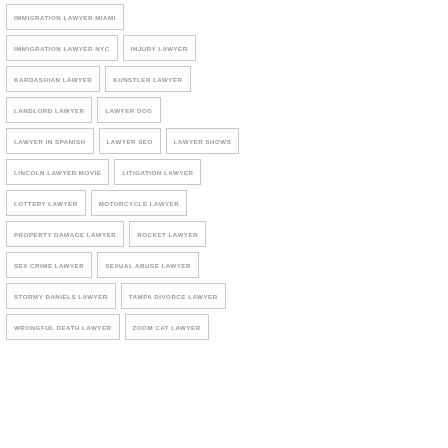IMMIGRATION LAWYER MIAMI
IMMIGRATION LAWYER NYC
INJURY LAWYER
KARDASHIAN LAWYER
KUNSTLER LAWYER
LANDLORD LAWYER
LAWYER DOG
LAWYER IN SPANISH
LAWYER SEO
LAWYER SHOWS
LINCOLN LAWYER MOVIE
LITIGATION LAWYER
LOTTERY LAWYER
MOTORCYCLE LAWYER
PROPERTY DAMAGE LAWYER
ROCKET LAWYER
SEX CRIME LAWYER
SEXUAL ABUSE LAWYER
STORMY DANIELS LAWYER
TAMPA DIVORCE LAWYER
WRONGFUL DEATH LAWYER
ZOOM CAT LAWYER